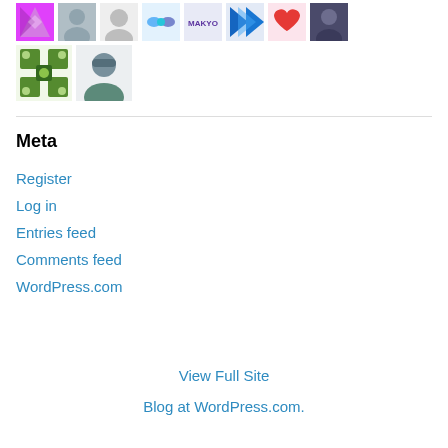[Figure (photo): Grid of user avatar thumbnails — two rows of small profile images including patterned tiles, photos of people, logos and icons]
Meta
Register
Log in
Entries feed
Comments feed
WordPress.com
View Full Site
Blog at WordPress.com.